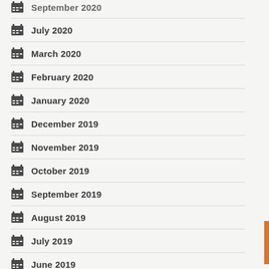September 2020
July 2020
March 2020
February 2020
January 2020
December 2019
November 2019
October 2019
September 2019
August 2019
July 2019
June 2019
May 2019
December 2018